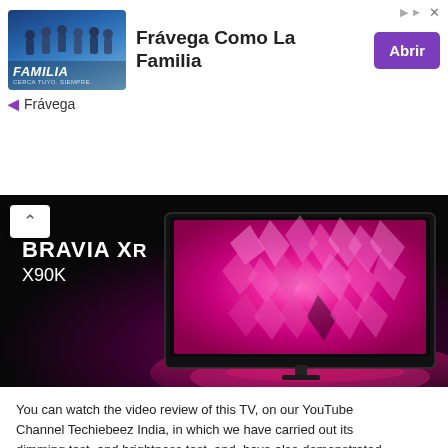[Figure (infographic): Frávega advertisement banner with brand image showing group of people with FAMILIA text, brand name 'Frávega Como La Familia', purple Abrir button, and Frávega sub-label with arrow icon]
[Figure (photo): Sony BRAVIA XR X90K television product image on black background with pink/magenta floral display on screen, with a back/up chevron navigation button in top-left corner]
You can watch the video review of this TV, on our YouTube Channel Techiebeez India, in which we have carried out its dimming test, and brightness test, and, have also demonstrated how to play VRR-enabled 4K HDR games through PS5 PlayStation.